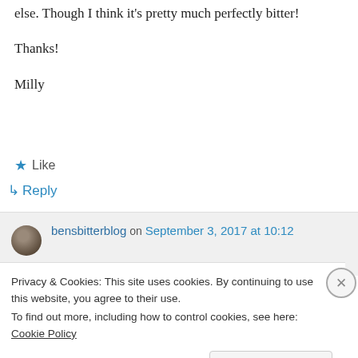else. Though I think it's pretty much perfectly bitter!
Thanks!
Milly
★ Like
↪ Reply
bensbitterblog on September 3, 2017 at 10:12
Privacy & Cookies: This site uses cookies. By continuing to use this website, you agree to their use.
To find out more, including how to control cookies, see here: Cookie Policy
Close and accept